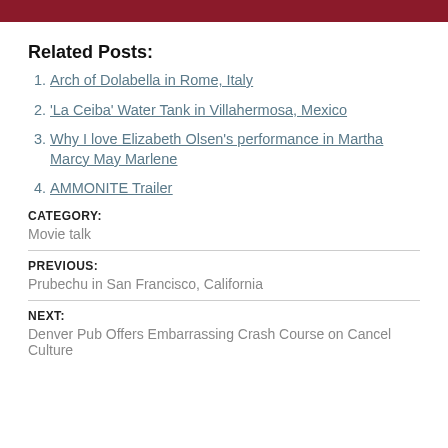[Figure (other): Dark red/maroon horizontal bar at top of page]
Related Posts:
Arch of Dolabella in Rome, Italy
'La Ceiba' Water Tank in Villahermosa, Mexico
Why I love Elizabeth Olsen's performance in Martha Marcy May Marlene
AMMONITE Trailer
CATEGORY:
Movie talk
PREVIOUS:
Prubechu in San Francisco, California
NEXT:
Denver Pub Offers Embarrassing Crash Course on Cancel Culture